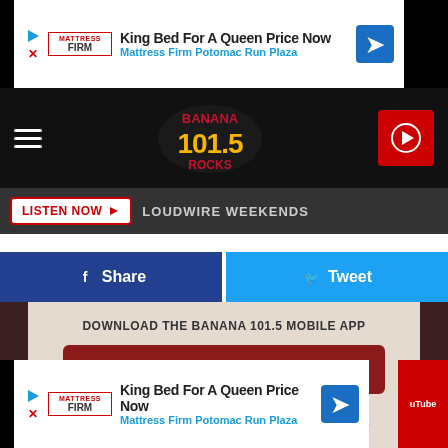[Figure (screenshot): Top advertisement banner: Mattress Firm ad with text 'King Bed For A Queen Price Now' and 'Mattress Firm Potomac Run Plaza']
[Figure (logo): Banana 101.5 Rocks radio station logo with navigation hamburger menu and red play button]
LISTEN NOW  LOUDWIRE WEEKENDS
Share  Tweet
DOWNLOAD THE BANANA 101.5 MOBILE APP
GET OUR FREE MOBILE APP
Also listen on:  amazon alexa
[Figure (screenshot): Bottom advertisement banner: Mattress Firm ad with text 'King Bed For A Queen Price Now' and 'Mattress Firm Potomac Run Plaza']